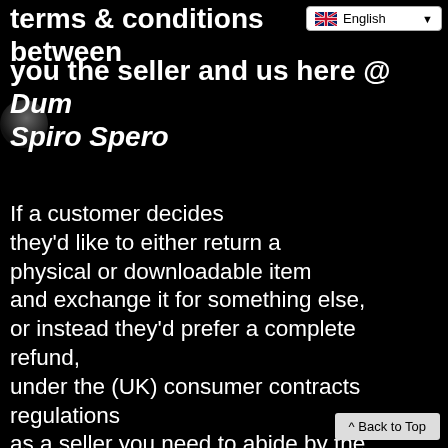terms & conditions between you the seller and us here @ Dum Spiro Spero
[Figure (logo): Circular logo/icon partially visible at left edge]
If a customer decides they'd like to either return a physical or downloadable item and exchange it for something else, or instead they'd prefer a complete refund, under the (UK) consumer contracts regulations as a seller you need to abide by the following –
^ Back to Top